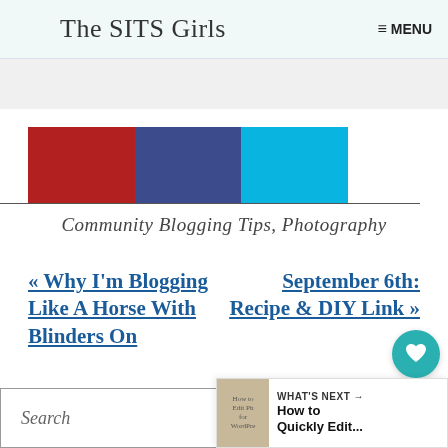The SITS Girls   ≡ MENU
[Figure (other): Three colored blocks: red, dark blue, cyan/light blue, forming a logo banner]
Community Blogging Tips, Photography
« Why I'm Blogging Like A Horse With Blinders On
September 6th: Recipe & DIY Link »
Search
WHAT'S NEXT → How to Quickly Edit...